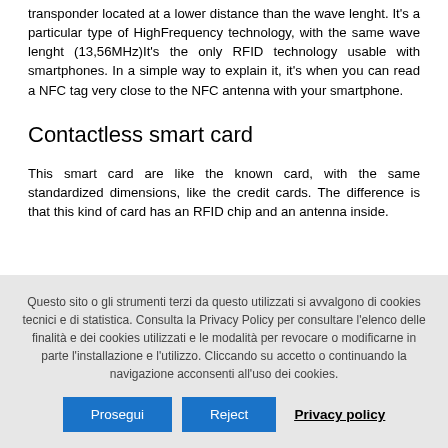transponder located at a lower distance than the wave lenght. It's a particular type of HighFrequency technology, with the same wave lenght (13,56MHz)It's the only RFID technology usable with smartphones. In a simple way to explain it, it's when you can read a NFC tag very close to the NFC antenna with your smartphone.
Contactless smart card
This smart card are like the known card, with the same standardized dimensions, like the credit cards. The difference is that this kind of card has an RFID chip and an antenna inside.
Questo sito o gli strumenti terzi da questo utilizzati si avvalgono di cookies tecnici e di statistica. Consulta la Privacy Policy per consultare l'elenco delle finalità e dei cookies utilizzati e le modalità per revocare o modificarne in parte l'installazione e l'utilizzo. Cliccando su accetto o continuando la navigazione acconsenti all'uso dei cookies.